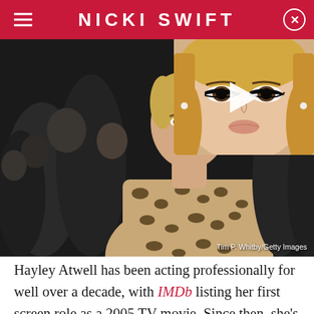NICKI SWIFT
[Figure (photo): Hayley Atwell in leopard print dress at event, with thumbnail overlay of blonde woman and play button]
Tim P. Whitby/Getty Images
Hayley Atwell has been acting professionally for well over a decade, with IMDb listing her first screen role as a 2005 TV movie. Since then, she's appeared in numerous films and TV series, most notably including her work